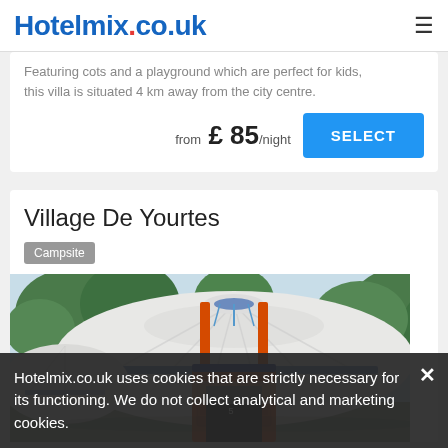Hotelmix.co.uk
Featuring cots and a playground which are perfect for kids, this villa is situated 4 km away from the city centre.
from £ 85/night  SELECT
Village De Yourtes
Campsite
[Figure (photo): Photo of a traditional yurt (round white tent) with an ornate orange wooden door, blue decorative accents on the crown, trees visible in the background.]
Hotelmix.co.uk uses cookies that are strictly necessary for its functioning. We do not collect analytical and marketing cookies.